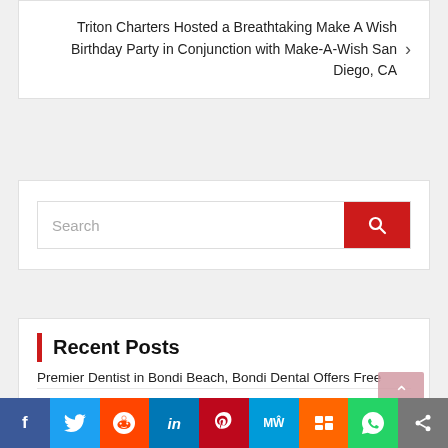Triton Charters Hosted a Breathtaking Make A Wish Birthday Party in Conjunction with Make-A-Wish San Diego, CA
[Figure (screenshot): Search bar with red search button]
Recent Posts
Premier Dentist in Bondi Beach, Bondi Dental Offers Free Consultation for Invisalign and Top-Quality Dental Implants
Mary Jane's CBD Dispensary – Smoke & Vape Shop Opens New Location in Edmond, OK
[Figure (infographic): Social sharing bar with Facebook, Twitter, Reddit, LinkedIn, Pinterest, MeWe, Mix, WhatsApp, and share buttons]